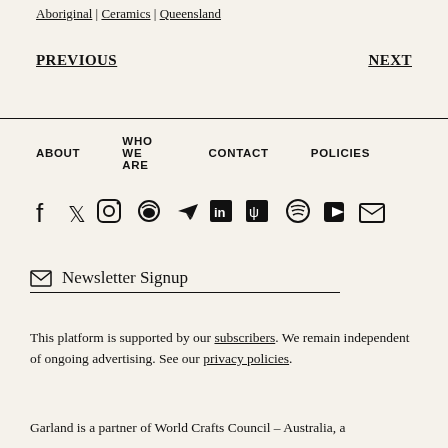Aboriginal | Ceramics | Queensland
PREVIOUS    NEXT
ABOUT    WHO WE ARE    CONTACT    POLICIES
[Figure (infographic): Row of 10 social media icons: Facebook, Twitter, Instagram, Weibo, Telegram, LinkedIn, unknown, Spotify, YouTube, Email]
Newsletter Signup
This platform is supported by our subscribers. We remain independent of ongoing advertising. See our privacy policies.
Garland is a partner of World Crafts Council – Australia, a